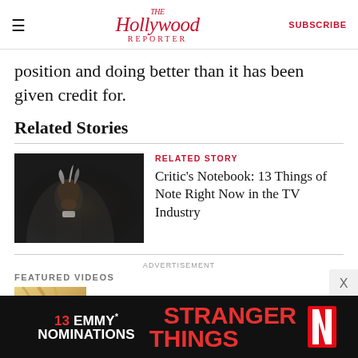The Hollywood Reporter | SUBSCRIBE
position and doing better than it has been given credit for.
Related Stories
[Figure (photo): Dark scene showing a person in priest collar looking upward, dramatic lighting]
RELATED STORY
Critic's Notebook: 13 Things of Note Right Now in the TV Industry
ADVERTISEMENT
FEATURED VIDEOS
[Figure (photo): Featured video thumbnail showing blond hair closeup]
[Figure (infographic): Advertisement banner: 13 EMMY NOMINATIONS | STRANGER THINGS | Netflix logo]